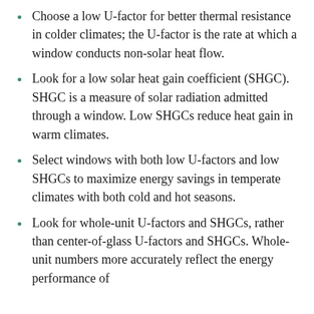Choose a low U-factor for better thermal resistance in colder climates; the U-factor is the rate at which a window conducts non-solar heat flow.
Look for a low solar heat gain coefficient (SHGC). SHGC is a measure of solar radiation admitted through a window. Low SHGCs reduce heat gain in warm climates.
Select windows with both low U-factors and low SHGCs to maximize energy savings in temperate climates with both cold and hot seasons.
Look for whole-unit U-factors and SHGCs, rather than center-of-glass U-factors and SHGCs. Whole-unit numbers more accurately reflect the energy performance of